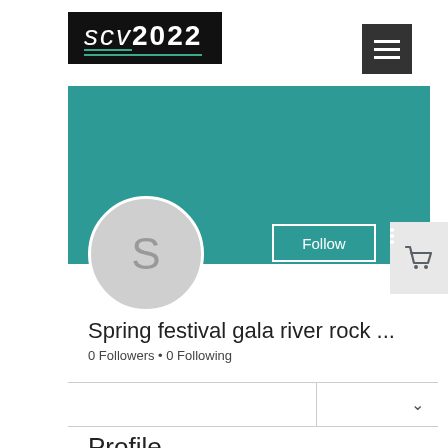[Figure (logo): SCV2022 logo in black rectangle with teal underline]
[Figure (screenshot): Hamburger menu button (three white lines on dark background)]
[Figure (screenshot): Teal banner background for user profile]
[Figure (screenshot): Shopping cart icon button on light grey background]
[Figure (screenshot): User avatar circle with letter S]
[Figure (screenshot): Follow button with white border on teal background]
Spring festival gala river rock ...
0 Followers • 0 Following
Profile